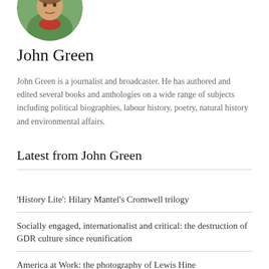[Figure (photo): Circular cropped portrait photo of John Green, showing green clothing and partial face]
John Green
John Green is a journalist and broadcaster. He has authored and edited several books and anthologies on a wide range of subjects including political biographies, labour history, poetry, natural history and environmental affairs.
Latest from John Green
'History Lite': Hilary Mantel's Cromwell trilogy
Socially engaged, internationalist and critical: the destruction of GDR culture since reunification
America at Work: the photography of Lewis Hine